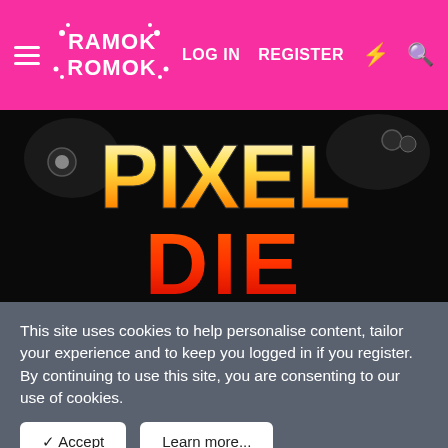RamokRomok — LOG IN  REGISTER
[Figure (screenshot): Game artwork showing 'PIXEL' text in white/orange gradient and 'DIE' in red flame style lettering on black background with gaming controllers]
This site uses cookies to help personalise content, tailor your experience and to keep you logged in if you register.
By continuing to use this site, you are consenting to our use of cookies.
✓ Accept   Learn more...